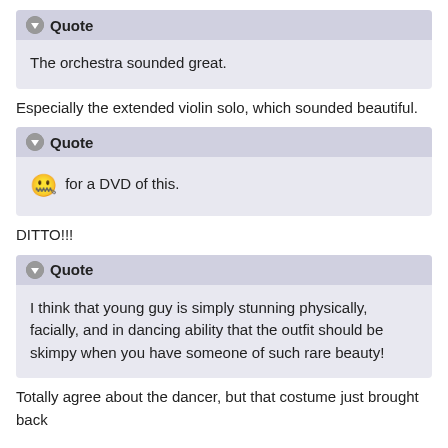Quote — The orchestra sounded great.
Especially the extended violin solo, which sounded beautiful.
Quote — [emoji] for a DVD of this.
DITTO!!!
Quote — I think that young guy is simply stunning physically, facially, and in dancing ability that the outfit should be skimpy when you have someone of such rare beauty!
Totally agree about the dancer, but that costume just brought back